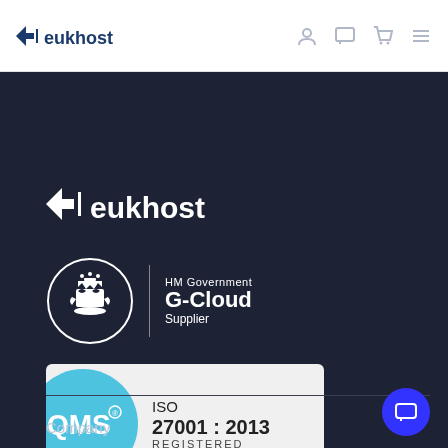[Figure (logo): eukhost logo in top left of white header nav bar with user, chat, cart, and menu icons on the right]
[Figure (logo): eukhost logo in white on dark background]
[Figure (logo): HM Government G-Cloud Supplier badge with royal coat of arms in circle]
[Figure (logo): QMS ISO 27001:2013 REGISTERED certification badge with blue circle and grey background]
Company